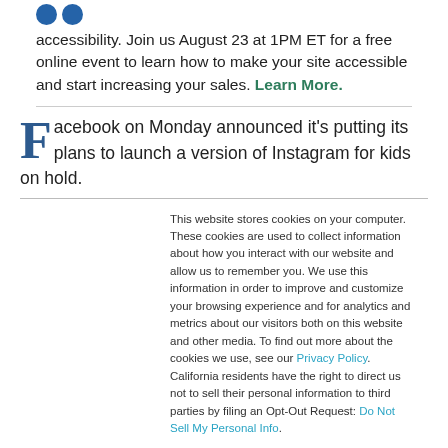[Figure (logo): Two blue circles side by side (logo dots)]
accessibility. Join us August 23 at 1PM ET for a free online event to learn how to make your site accessible and start increasing your sales. Learn More.
Facebook on Monday announced it's putting its plans to launch a version of Instagram for kids on hold.
This website stores cookies on your computer. These cookies are used to collect information about how you interact with our website and allow us to remember you. We use this information in order to improve and customize your browsing experience and for analytics and metrics about our visitors both on this website and other media. To find out more about the cookies we use, see our Privacy Policy. California residents have the right to direct us not to sell their personal information to third parties by filing an Opt-Out Request: Do Not Sell My Personal Info.